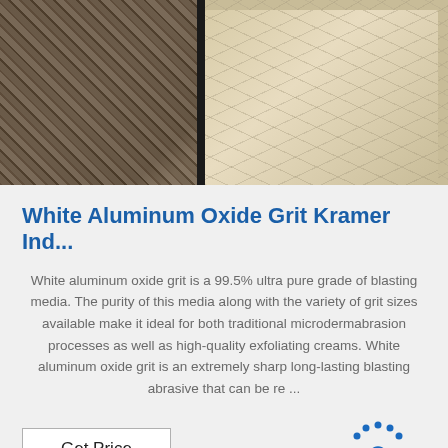[Figure (photo): Product photo showing white aluminum oxide grit material with textured surface, split into two panels with dark divider]
White Aluminum Oxide Grit Kramer Ind...
White aluminum oxide grit is a 99.5% ultra pure grade of blasting media. The purity of this media along with the variety of grit sizes available make it ideal for both traditional microdermabrasion processes as well as high-quality exfoliating creams. White aluminum oxide grit is an extremely sharp long-lasting blasting abrasive that can be re ...
[Figure (logo): TOP logo with dotted arc above text in blue]
Get Price